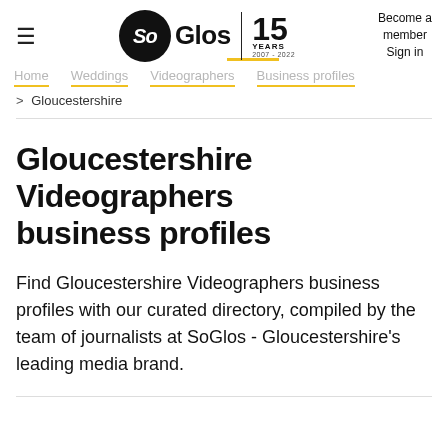SoGlos 15 YEARS 2007-2022 | Become a member Sign in
Home
Weddings
Videographers
Business profiles
> Gloucestershire
Gloucestershire Videographers business profiles
Find Gloucestershire Videographers business profiles with our curated directory, compiled by the team of journalists at SoGlos - Gloucestershire's leading media brand.